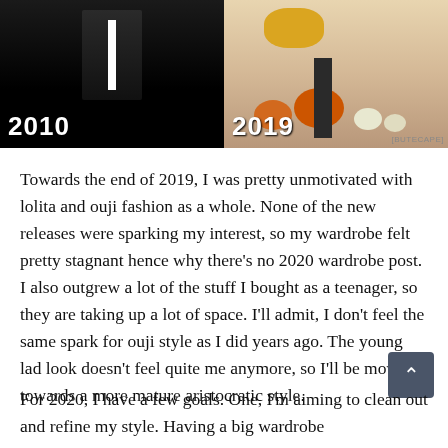[Figure (photo): Side-by-side comparison photos labeled 2010 (left, dark/black background with figure) and 2019 (right, autumn harvest scene with pumpkins and flowers). Watermark reads [BUTECAPE] in bottom right.]
Towards the end of 2019, I was pretty unmotivated with lolita and ouji fashion as a whole. None of the new releases were sparking my interest, so my wardrobe felt pretty stagnant hence why there's no 2020 wardrobe post. I also outgrew a lot of the stuff I bought as a teenager, so they are taking up a lot of space. I'll admit, I don't feel the same spark for ouji style as I did years ago. The young lad look doesn't feel quite me anymore, so I'll be moving towards a more mature aristocratic style.
For 2020, I have a few goals. One, I'm aiming to clean out and refine my style. Having a big wardrobe